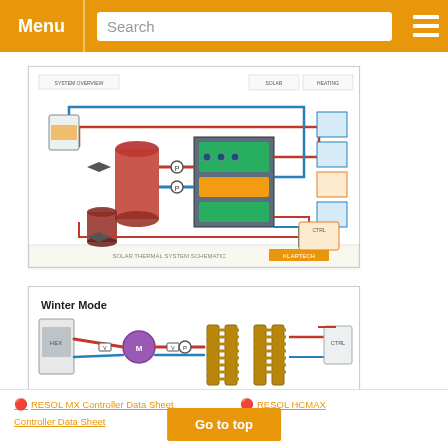Menu | Search
[Figure (schematic): HVAC/heating system schematic with red and blue fluid lines, storage tanks, pump stations, and manifolds]
[Figure (schematic): Two-mode hydronic system schematic showing Winter Mode and Summer Mode with manifolds, pumps, mixing valves and pipework in red and blue]
RESOL MX Controller Data Sheet
RESOL HCMAX Controller Data Sheet